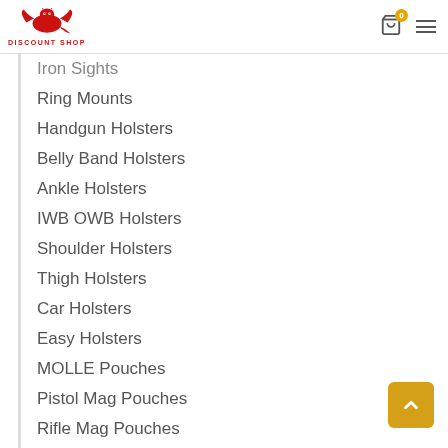DISCOUNT SHOP — navigation header with logo, cart (0), and hamburger menu
Iron Sights
Ring Mounts
Handgun Holsters
Belly Band Holsters
Ankle Holsters
IWB OWB Holsters
Shoulder Holsters
Thigh Holsters
Car Holsters
Easy Holsters
MOLLE Pouches
Pistol Mag Pouches
Rifle Mag Pouches
Shotshell Pouches
Utility Pouches